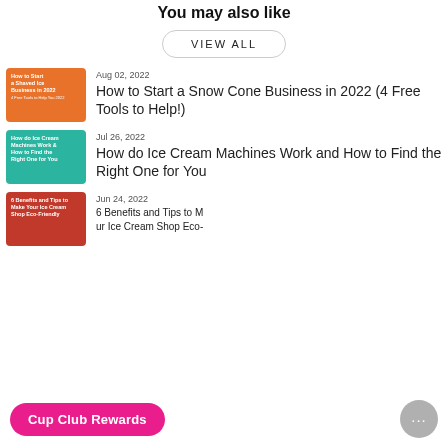You may also like
VIEW ALL
[Figure (illustration): Orange thumbnail with text: How to Start a Shaved Ice Business in 2022]
Aug 02, 2022
How to Start a Snow Cone Business in 2022 (4 Free Tools to Help!)
[Figure (illustration): Teal thumbnail with text: How do Ice Cream Machines Work & How to Find the Right One for You]
Jul 26, 2022
How do Ice Cream Machines Work and How to Find the Right One for You
[Figure (illustration): Red thumbnail with text: 6 Benefits and Tips to Make Your Ice Cream Shop Eco-Friendly]
Jun 24, 2022
6 Benefits and Tips to Make Your Ice Cream Shop Eco-Friendly
Cup Club Rewards